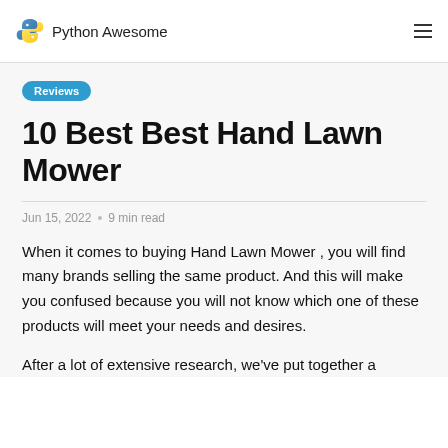Python Awesome
Reviews
10 Best Best Hand Lawn Mower
Jun 15, 2022 • 9 min read
When it comes to buying Hand Lawn Mower , you will find many brands selling the same product. And this will make you confused because you will not know which one of these products will meet your needs and desires.
After a lot of extensive research, we've put together a